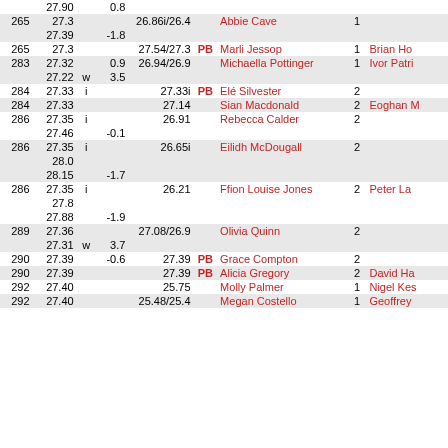| Rank | Perf | i/w | Wind | SB | PB | Name | Num | Coach |
| --- | --- | --- | --- | --- | --- | --- | --- | --- |
|  | 27.90 |  | 0.8 |  |  |  |  |  |
| 265 | 27.3 |  |  | 26.86i/26.4 |  | Abbie Cave | 1 |  |
|  | 27.39 |  | -1.8 |  |  |  |  |  |
| 265 | 27.3 |  |  | 27.54/27.3 | PB | Marli Jessop | 1 | Brian Ho |
| 283 | 27.32 |  | 0.9 | 26.94/26.9 |  | Michaella Pottinger | 1 | Ivor Patri |
|  | 27.22 | w | 3.5 |  |  |  |  |  |
| 284 | 27.33 | i |  | 27.33i | PB | Elé Silvester | 2 |  |
| 284 | 27.33 |  |  | 27.14 |  | Sian Macdonald | 2 | Eoghan M |
| 286 | 27.35 | i |  | 26.91 |  | Rebecca Calder | 2 |  |
|  | 27.46 |  | -0.1 |  |  |  |  |  |
| 286 | 27.35 | i |  | 26.65i |  | Eilidh McDougall | 2 |  |
|  | 28.0 |  |  |  |  |  |  |  |
|  | 28.15 |  | -1.7 |  |  |  |  |  |
| 286 | 27.35 | i |  | 26.21 |  | Ffion Louise Jones | 2 | Peter La |
|  | 27.8 |  |  |  |  |  |  |  |
|  | 27.88 |  | -1.9 |  |  |  |  |  |
| 289 | 27.36 |  |  | 27.08/26.9 |  | Olivia Quinn | 2 |  |
|  | 27.31 | w | 3.7 |  |  |  |  |  |
| 290 | 27.39 |  | -0.6 | 27.39 | PB | Grace Compton | 2 |  |
| 290 | 27.39 |  |  | 27.39 | PB | Alicia Gregory | 2 | David Ha |
| 292 | 27.40 |  |  | 25.75 |  | Molly Palmer | 1 | Nigel Kes |
| 292 | 27.40 |  |  | 25.48/25.4 |  | Megan Costello | 1 | Geoffrey |